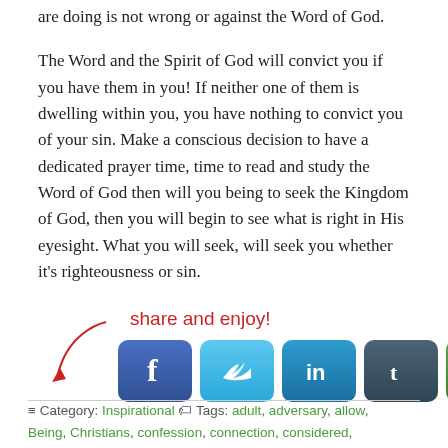are doing is not wrong or against the Word of God.
The Word and the Spirit of God will convict you if you have them in you! If neither one of them is dwelling within you, you have nothing to convict you of your sin. Make a conscious decision to have a dedicated prayer time, time to read and study the Word of God then will you being to seek the Kingdom of God, then you will begin to see what is right in His eyesight. What you will seek, will seek you whether it's righteousness or sin.
[Figure (infographic): Share and enjoy label in red cursive with a curving arrow pointing to social media icons for Facebook, Twitter, LinkedIn, Tumblr, and a sharing button]
Category: Inspirational   Tags: adult, adversary, allow, Being, Christians, confession, connection, considered, Convict, decision, dedicated, dwelling, entertain, eyesight, faith, financial, following, God, householder, his, life